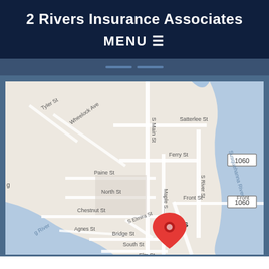2 Rivers Insurance Associates
MENU ≡
[Figure (map): Google Maps view of Athens, PA area showing streets including S Main St, Satterlee St, Ferry St, Paine St, North St, Chestnut St, S Elmira St, Bridge St, South St, Elm St, Front St, Agnes St, Tyler St, Wheelock Ave and the Susquehanna River and S River St with a red location pin marker over the Athens area near Maple St and S Main St.]